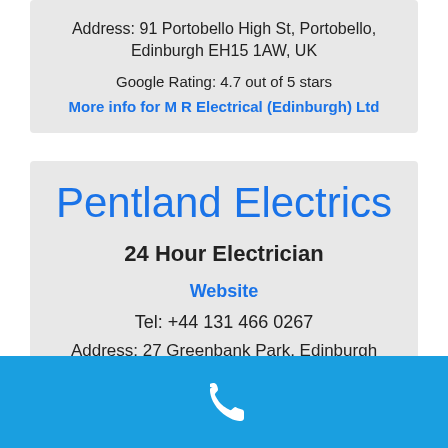Address: 91 Portobello High St, Portobello, Edinburgh EH15 1AW, UK
Google Rating: 4.7 out of 5 stars
More info for M R Electrical (Edinburgh) Ltd
Pentland Electrics
24 Hour Electrician
Website
Tel: +44 131 466 0267
Address: 27 Greenbank Park, Edinburgh EH10 5SP, UK
Google Rating: 5.0 out of 5 stars
[Figure (other): Blue bar with white phone icon at the bottom of the page]